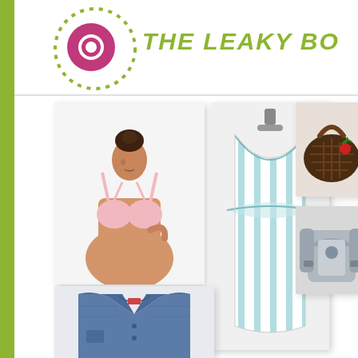[Figure (logo): The Leaky Boob logo: pink/magenta circle with dots inside, surrounded by a dotted circular ring border]
THE LEAKY BO
[Figure (photo): Woman wearing a pink nursing/maternity bra, hair in a bun, looking down]
[Figure (photo): Blue and white striped maternity/nursing dress on a mannequin with V-neckline and empire waist]
[Figure (photo): Dark brown woven bag/purse with red cherry decoration]
[Figure (photo): Gray Ergo baby carrier]
[Figure (photo): Blue denim blazer/jacket]